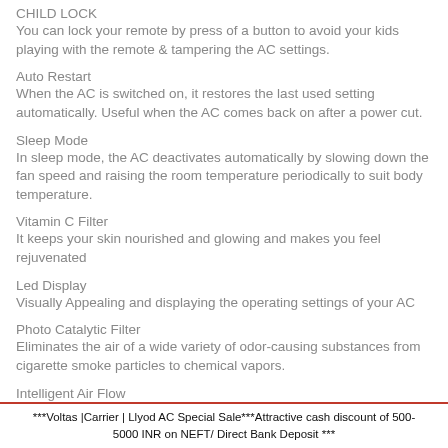CHILD LOCK
You can lock your remote by press of a button to avoid your kids playing with the remote & tampering the AC settings.
Auto Restart
When the AC is switched on, it restores the last used setting automatically. Useful when the AC comes back on after a power cut.
Sleep Mode
In sleep mode, the AC deactivates automatically by slowing down the fan speed and raising the room temperature periodically to suit body temperature.
Vitamin C Filter
It keeps your skin nourished and glowing and makes you feel rejuvenated
Led Display
Visually Appealing and displaying the operating settings of your AC
Photo Catalytic Filter
Eliminates the air of a wide variety of odor-causing substances from cigarette smoke particles to chemical vapors.
Intelligent Air Flow
***Voltas |Carrier | Llyod AC Special Sale***Attractive cash discount of 500-5000 INR on NEFT/ Direct Bank Deposit ***